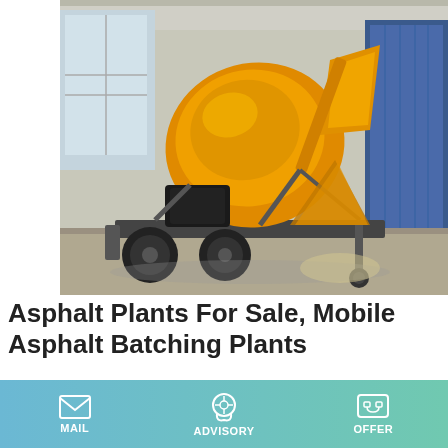[Figure (photo): Orange mobile asphalt batching plant / concrete mixer on a trailer with wheels, parked inside an industrial warehouse. The machine is large and painted bright yellow-orange. Blue industrial equipment is visible in the background on the right.]
Asphalt Plants For Sale, Mobile Asphalt Batching Plants
We, asphalt mixing plants manufacturer, Liaoyuan Machinery, Batch mix, drum mix, portable, mobile, mini type, 60+ models of hot mix plant for sale at lowest prices in Papua New Guinea. Advanced cold and hot aggregate weighing technology, several kind of burners available, filler addable.
MAIL | ADVISORY | OFFER